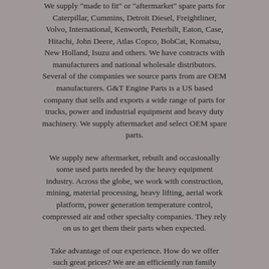We supply "made to fit" or "aftermarket" spare parts for Caterpillar, Cummins, Detroit Diesel, Freightliner, Volvo, International, Kenworth, Peterbilt, Eaton, Case, Hitachi, John Deere, Atlas Copco, BobCat, Komatsu, New Holland, Isuzu and others. We have contracts with manufacturers and national wholesale distributors. Several of the companies we source parts from are OEM manufacturers. G&T Engine Parts is a US based company that sells and exports a wide range of parts for trucks, power and industrial equipment and heavy duty machinery. We supply aftermarket and select OEM spare parts.
We supply new aftermarket, rebuilt and occasionally some used parts needed by the heavy equipment industry. Across the globe, we work with construction, mining, material processing, heavy lifting, aerial work platform, power generation temperature control, compressed air and other specialty companies. They rely on us to get them their parts when expected.
Take advantage of our experience. How do we offer such great prices? We are an efficiently run family business with low overhead. Our volume discounts from our US partner suppliers are passed on to our customers. An established and dependable network of logistical partners. We would be pleased to have the opportunity to provide you with a fast quote for one or more engine parts, heavy equipment part, rebuilt engine, Baldwin Filter or for surplus inventory or any components at OEM standards to meet your needs. The best services and maintenance. We work to earn your return business. G&T Engine Parts is professional team experienced in providing quick quotes and supply parts as fast as possible. Look to G&T Engine Parts for reliable export services.
We work with many different types of companies in the mining, material